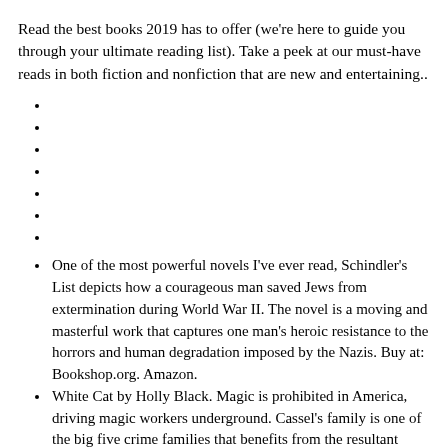Read the best books 2019 has to offer (we're here to guide you through your ultimate reading list). Take a peek at our must-have reads in both fiction and nonfiction that are new and entertaining..
One of the most powerful novels I've ever read, Schindler's List depicts how a courageous man saved Jews from extermination during World War II. The novel is a moving and masterful work that captures one man's heroic resistance to the horrors and human degradation imposed by the Nazis. Buy at: Bookshop.org. Amazon.
White Cat by Holly Black. Magic is prohibited in America, driving magic workers underground. Cassel's family is one of the big five crime families that benefits from the resultant criminal culture. However, times are hard, and his family is falling apart, leaving Cassel to inherit a terrifying family secret.